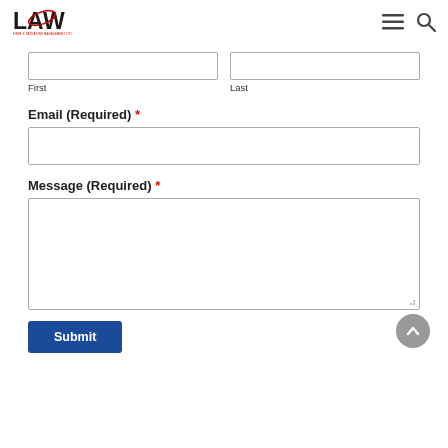LAW FIBRE & PACKAGING MANAGEMENT LTD
First
Last
Email (Required) *
Message (Required) *
Submit